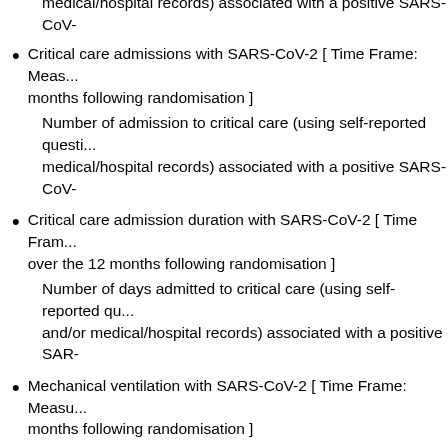medical/hospital records) associated with a positive SARS-CoV-
Critical care admissions with SARS-CoV-2 [ Time Frame: Meas... months following randomisation ]
Number of admission to critical care (using self-reported questi... medical/hospital records) associated with a positive SARS-CoV-
Critical care admission duration with SARS-CoV-2 [ Time Fram... over the 12 months following randomisation ]
Number of days admitted to critical care (using self-reported qu... and/or medical/hospital records) associated with a positive SAR-
Mechanical ventilation with SARS-CoV-2 [ Time Frame: Measu... months following randomisation ]
Number of participants needing mechanical ventilation (using s... questionnaire and/or medical/hospital records) and a positive S
Mechanical ventilation duration with SARS-CoV-2 [ Time Frame... the 12 months following randomisation ]
Number of days that participants needed mechanical ventilation... reported questionnaire and/or medical/hospital records) and a p